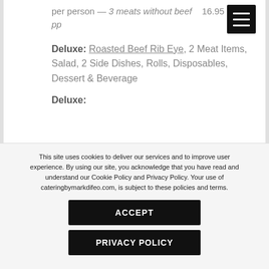per person — 3 meats without beef  16.95 pp
Deluxe: Roasted Beef Rib Eye, 2 Meat Items, Salad, 2 Side Dishes, Rolls, Disposables, Dessert & Beverage
Deluxe:
This site uses cookies to deliver our services and to improve user experience. By using our site, you acknowledge that you have read and understand our Cookie Policy and Privacy Policy. Your use of cateringbymarkdifeo.com, is subject to these policies and terms.
ACCEPT
PRIVACY POLICY